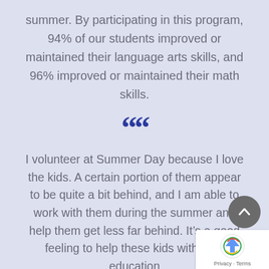summer. By participating in this program, 94% of our students improved or maintained their language arts skills, and 96% improved or maintained their math skills.
[Figure (illustration): Large dark blue double opening quotation marks]
I volunteer at Summer Day because I love the kids. A certain portion of them appear to be quite a bit behind, and I am able to work with them during the summer and help them get less far behind. It’s a good feeling to help these kids with their education
Cathy Flaa, Volunteer, Chicago Lights